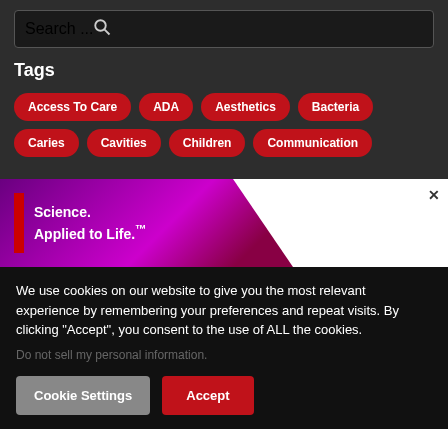Search ...
Tags
Access To Care
ADA
Aesthetics
Bacteria
Caries
Cavities
Children
Communication
[Figure (logo): Science. Applied to Life. brand banner with purple/magenta gradient background and white panel on right, close button]
We use cookies on our website to give you the most relevant experience by remembering your preferences and repeat visits. By clicking “Accept”, you consent to the use of ALL the cookies.
Do not sell my personal information.
Cookie Settings
Accept